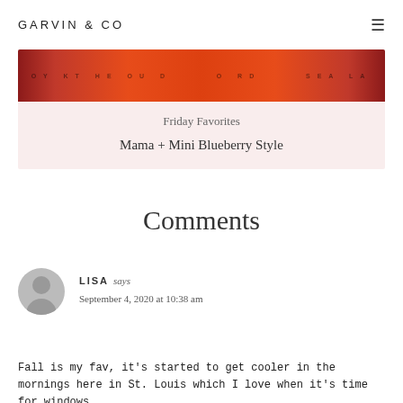GARVIN & CO
[Figure (photo): Red/orange colored product image strip at top of card]
Friday Favorites
Mama + Mini Blueberry Style
Comments
LISA says
September 4, 2020 at 10:38 am
Fall is my fav, it's started to get cooler in the mornings here in St. Louis which I love when it's time for windows